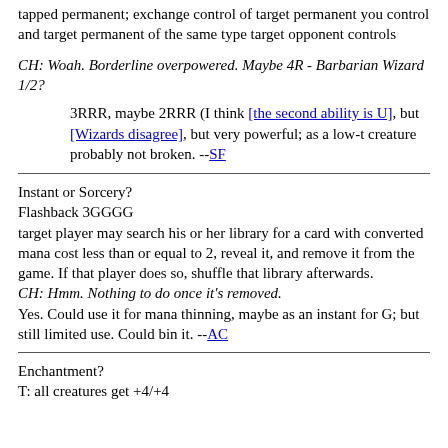tapped permanent; exchange control of target permanent you control and target permanent of the same type target opponent controls
CH: Woah. Borderline overpowered. Maybe 4R - Barbarian Wizard 1/2?
3RRR, maybe 2RRR (I think [the second ability is U], but [Wizards disagree], but very powerful; as a low-t creature probably not broken. --SF
Instant or Sorcery?
Flashback 3GGGG
target player may search his or her library for a card with converted mana cost less than or equal to 2, reveal it, and remove it from the game. If that player does so, shuffle that library afterwards.
CH: Hmm. Nothing to do once it's removed.
Yes. Could use it for mana thinning, maybe as an instant for G; but still limited use. Could bin it. --AC
Enchantment?
T: all creatures get +4/+4